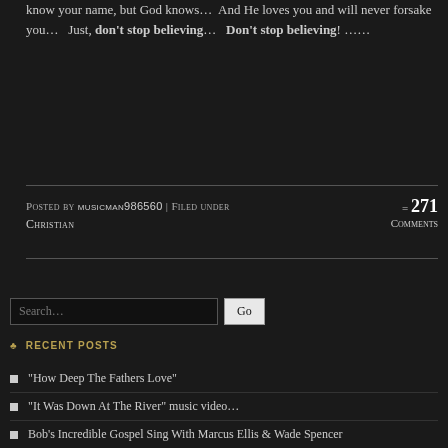know your name, but God knows… And He loves you and will never forsake you…  Just, don't stop believing…  Don't stop believing! ……
Posted by musicman986560 | Filed under Christian = 271 Comments
[Figure (screenshot): Search input box with Go button]
♣ RECENT POSTS
“How Deep The Fathers Love”
“It Was Down At The River” music video…
Bob’s Incredible Gospel Sing With Marcus Ellis & Wade Spencer